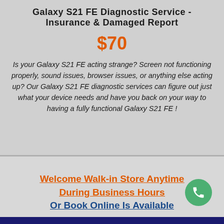Galaxy S21 FE Diagnostic Service - Insurance & Damaged Report
$70
Is your Galaxy S21 FE acting strange? Screen not functioning properly, sound issues, browser issues, or anything else acting up? Our Galaxy S21 FE diagnostic services can figure out just what your device needs and have you back on your way to having a fully functional Galaxy S21 FE !
Welcome Walk-in Store Anytime During Business Hours Or Book Online Is Available